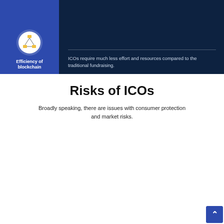[Figure (infographic): Blue left panel with blockchain icon and label 'Efficiency of blockchain'. Dark navy right panel with divider and text about ICOs.]
ICOs require much less effort and resources compared to the traditional fundraising.
Risks of ICOs
Broadly speaking, there are issues with consumer protection and market risks.
[Figure (infographic): Consumer Protection section with two columns: 'Lack of due diligence' with magnifying glass icon, and 'Overinflated token valuation' with money/ladder icon.]